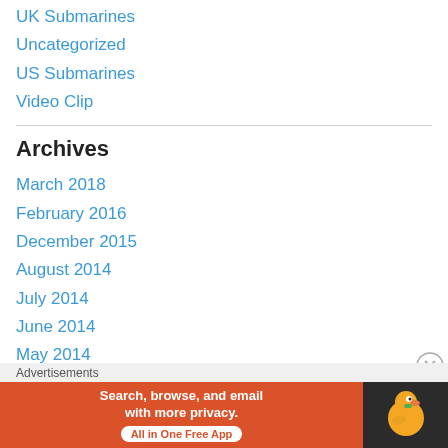UK Submarines
Uncategorized
US Submarines
Video Clip
Archives
March 2018
February 2016
December 2015
August 2014
July 2014
June 2014
May 2014
April 2014
March 2014
Advertisements
[Figure (screenshot): DuckDuckGo advertisement banner: orange section with text 'Search, browse, and email with more privacy. All in One Free App' and dark section with DuckDuckGo duck logo]